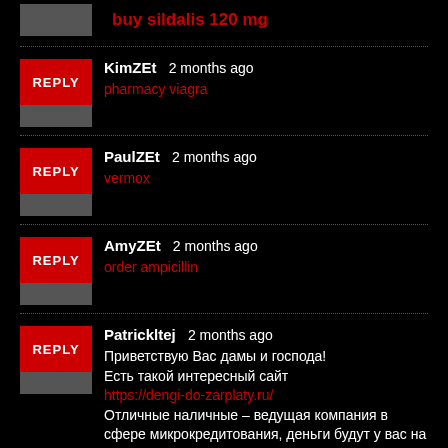buy sildalis 120 mg
KimZEt  2 months ago
pharmacy viagra
PaulZEt  2 months ago
vermox
AmyZEt  2 months ago
order ampicillin
Patrickltej  2 months ago
Приветствую Вас дамы и господа! Есть такой интересный сайт https://dengi-do-zarplaty.ru/ Отличные наличные – ведущая компания в сфере микрокредитования, деньги будут у вас на карте через 15 минут. Оформить займ можно